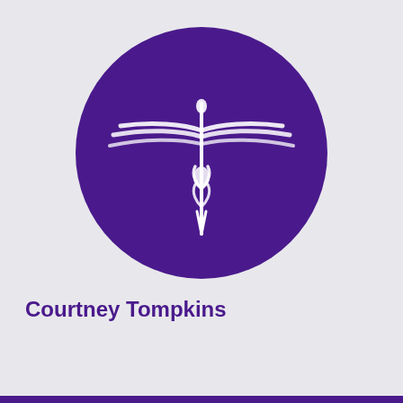[Figure (logo): Purple circle logo with a white dragonfly or medical caduceus-style emblem in the center]
Courtney Tompkins